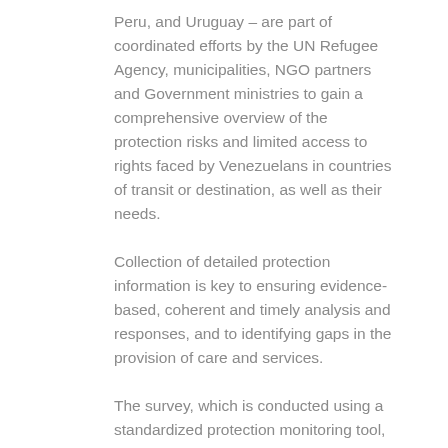Peru, and Uruguay – are part of coordinated efforts by the UN Refugee Agency, municipalities, NGO partners and Government ministries to gain a comprehensive overview of the protection risks and limited access to rights faced by Venezuelans in countries of transit or destination, as well as their needs.
Collection of detailed protection information is key to ensuring evidence-based, coherent and timely analysis and responses, and to identifying gaps in the provision of care and services.
The survey, which is conducted using a standardized protection monitoring tool, has already resulted in concrete actions, as the interviewers can refer people they identify as at risk for help and follow up. From January to June, over 1500 people were referred for counselling or services in this way.